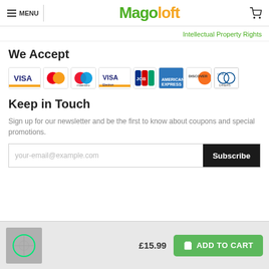MENU | Magoloft
Intellectual Property Rights
We Accept
[Figure (other): Payment method logos: Visa, Mastercard, Maestro, Visa Electron, JCB, American Express, Discover, Diners Club]
Keep in Touch
Sign up for our newsletter and be the first to know about coupons and special promotions.
your-email@example.com  Subscribe
[Figure (photo): Product thumbnail of a USB fan with green light, with price £15.99 and ADD TO CART button]